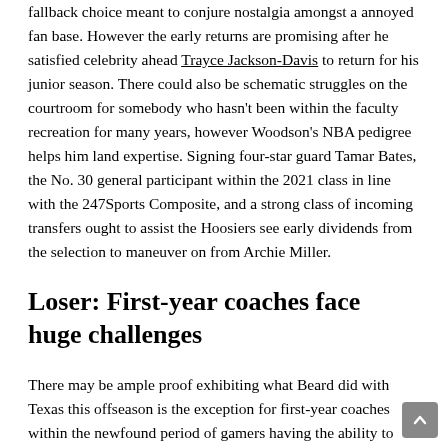fallback choice meant to conjure nostalgia amongst a annoyed fan base. However the early returns are promising after he satisfied celebrity ahead Trayce Jackson-Davis to return for his junior season. There could also be schematic struggles on the courtroom for somebody who hasn't been within the faculty recreation for many years, however Woodson's NBA pedigree helps him land expertise. Signing four-star guard Tamar Bates, the No. 30 general participant within the 2021 class in line with the 247Sports Composite, and a strong class of incoming transfers ought to assist the Hoosiers see early dividends from the selection to maneuver on from Archie Miller.
Loser: First-year coaches face huge challenges
There may be ample proof exhibiting what Beard did with Texas this offseason is the exception for first-year coaches within the newfound period of gamers having the ability to switch as soon